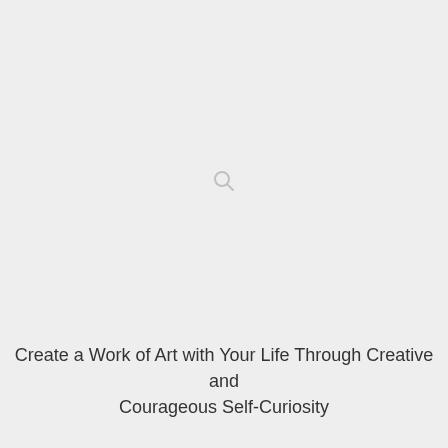[Figure (other): Small circular loading/search icon with a tail, centered on the page, light gray color]
Create a Work of Art with Your Life Through Creative and Courageous Self-Curiosity